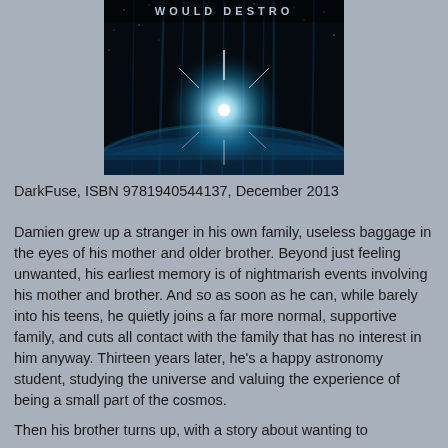[Figure (illustration): Book cover showing a dramatic space/sci-fi scene with a bright light burst over a planet's horizon with dark streaks against a blue-lit sky. Text at top reads 'WOULD DESTRO[Y]' in stylized sci-fi font.]
DarkFuse, ISBN 9781940544137, December 2013
Damien grew up a stranger in his own family, useless baggage in the eyes of his mother and older brother. Beyond just feeling unwanted, his earliest memory is of nightmarish events involving his mother and brother. And so as soon as he can, while barely into his teens, he quietly joins a far more normal, supportive family, and cuts all contact with the family that has no interest in him anyway. Thirteen years later, he's a happy astronomy student, studying the universe and valuing the experience of being a small part of the cosmos.
Then his brother turns up, with a story about wanting to